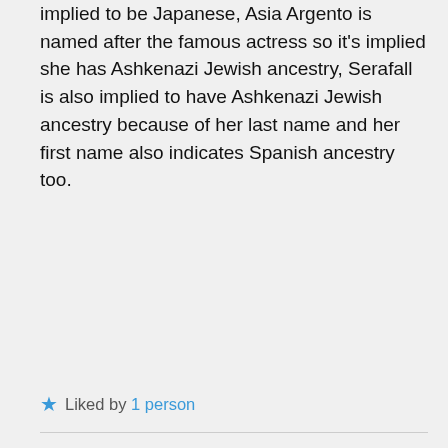implied to be Japanese, Asia Argento is named after the famous actress so it's implied she has Ashkenazi Jewish ancestry, Serafall is also implied to have Ashkenazi Jewish ancestry because of her last name and her first name also indicates Spanish ancestry too.
★ Liked by 1 person
Emily Reda on September 9, 2018 at 6:42 am
I also forgot to mention Mittelt from High School DxD as well along with Simon, Yoko Littner, and Nia Teppelin from Gurren Lagann and